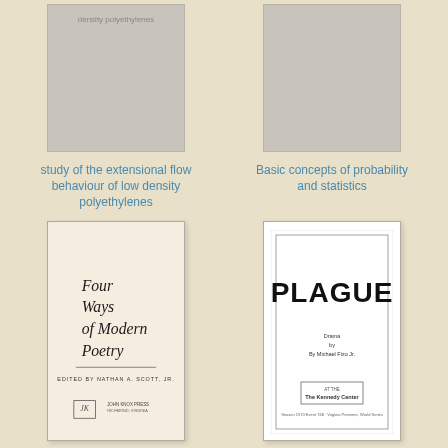[Figure (illustration): Book cover thumbnail - study of the extensional flow behaviour of low density polyethylenes, gray placeholder]
study of the extensional flow behaviour of low density polyethylenes
[Figure (illustration): Book cover thumbnail - Basic concepts of probability and statistics, gray placeholder]
Basic concepts of probability and statistics
[Figure (illustration): Book cover - Four Ways of Modern Poetry, edited by Nathan A. Scott Jr., John Knox Press, Richmond Virginia, cream colored cover with italic text]
Four ways of modern poetry
[Figure (illustration): Book cover - Plague, Drama by Michael Fizo Jr., at The Kennedy Center, white cover with large bold blocky PLAGUE title text]
Plague